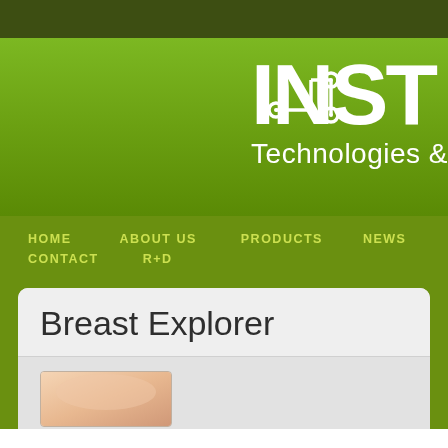[Figure (logo): INST Technologies logo with circuit-board style icon on green gradient background header]
HOME   ABOUT US   PRODUCTS   NEWS   CONTACT   R+D
Breast Explorer
[Figure (photo): Partial medical/clinical image at bottom of page]